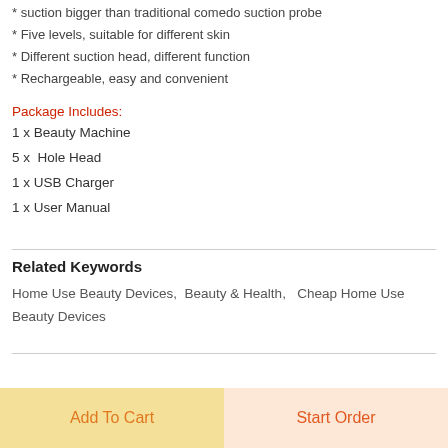* suction bigger than traditional comedo suction probe
* Five levels, suitable for different skin
* Different suction head, different function
* Rechargeable, easy and convenient
Package Includes:
1 x Beauty Machine
5 x  Hole Head
1 x USB Charger
1 x User Manual
Related Keywords
Home Use Beauty Devices,  Beauty & Health,   Cheap Home Use Beauty Devices